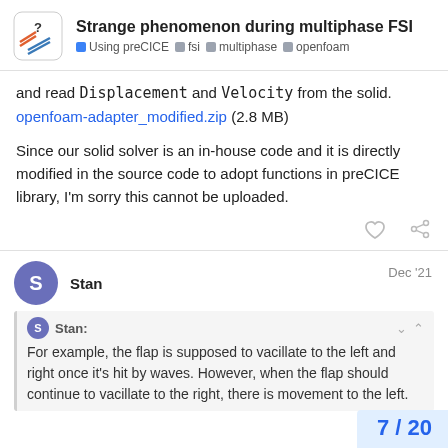Strange phenomenon during multiphase FSI | Using preCICE | fsi | multiphase | openfoam
and read Displacement and Velocity from the solid. openfoam-adapter_modified.zip (2.8 MB)
Since our solid solver is an in-house code and it is directly modified in the source code to adopt functions in preCICE library, I'm sorry this cannot be uploaded.
Stan  Dec '21
Stan: For example, the flap is supposed to vacillate to the left and right once it's hit by waves. However, when the flap should continue to vacillate to the right, there is movement to the left.
7 / 20